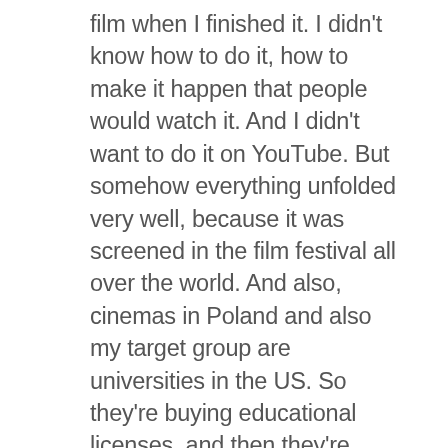film when I finished it. I didn't know how to do it, how to make it happen that people would watch it. And I didn't want to do it on YouTube. But somehow everything unfolded very well, because it was screened in the film festival all over the world. And also, cinemas in Poland and also my target group are universities in the US. So they're buying educational licenses, and then they're showing it to students. This is for me very good because people are watching it as part of their education program and are discussing it. I didn't expect now that it would be watched and discussed in so